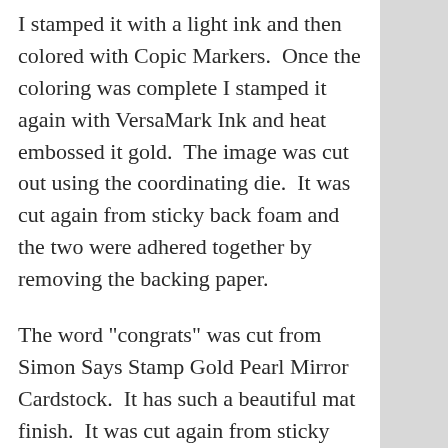I stamped it with a light ink and then colored with Copic Markers.  Once the coloring was complete I stamped it again with VersaMark Ink and heat embossed it gold.  The image was cut out using the coordinating die.  It was cut again from sticky back foam and the two were adhered together by removing the backing paper.
The word "congrats" was cut from Simon Says Stamp Gold Pearl Mirror Cardstock.  It has such a beautiful mat finish.  It was cut again from sticky back foam and adhered at the bottom of a side folding cardbase with liquid glue.  The secondary sentiment was cut from a scrap of